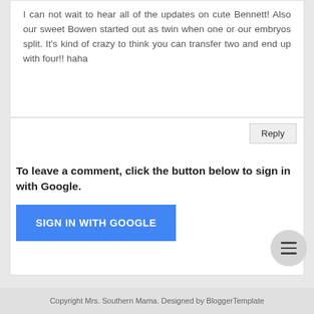I can not wait to hear all of the updates on cute Bennett! Also our sweet Bowen started out as twin when one or our embryos split. It's kind of crazy to think you can transfer two and end up with four!! haha
Reply
To leave a comment, click the button below to sign in with Google.
[Figure (other): Blue button labeled SIGN IN WITH GOOGLE]
[Figure (other): Circular hamburger menu button with three horizontal lines]
Copyright Mrs. Southern Mama. Designed by BloggerTemplate